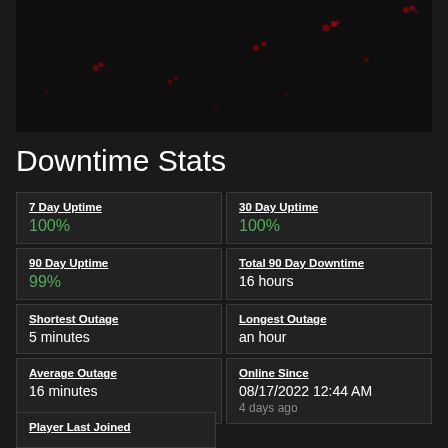[Figure (continuous-plot): Dark background chart area showing a time-series or activity plot with faint red/orange data points scattered across a dark black/charcoal background]
Downtime Stats
| 7 Day Uptime | 30 Day Uptime |
| 100% | 100% |
| 90 Day Uptime | Total 90 Day Downtime |
| 99% | 16 hours |
| Shortest Outage | Longest Outage |
| 5 minutes | an hour |
| Average Outage | Online Since |
| 16 minutes | 08/17/2022 12:44 AM
4 days ago |
Player Last Joined